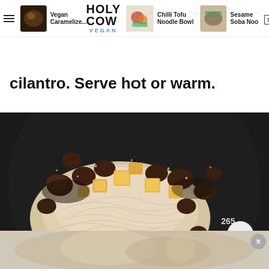Holy Cow Vegan – navigation bar with: Vegan Caramelize..., Chilli Tofu Noodle Bowl, Sesame Soba Noo..., SUBSCRIBE, search icon
cilantro. Serve hot or warm.
[Figure (photo): A wok/pan viewed from above containing a large mound of rice vermicelli noodles in the center, surrounded by sautéed mushrooms and golden tofu cubes. The number 265 is visible in the lower right of the image. A heart/favorite button and a search button are overlaid in the lower right corner.]
[Figure (photo): Bottom ad strip showing a blurred/partial food image with an X close button in the top right corner.]